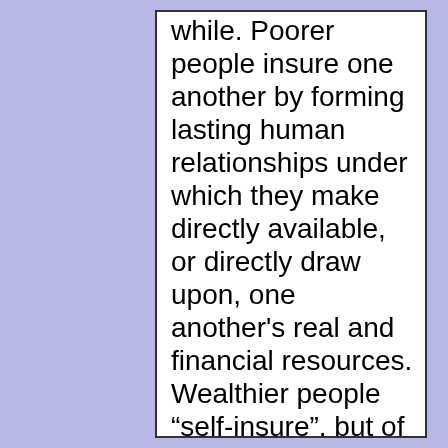while. Poorer people insure one another by forming lasting human relationships under which they make directly available, or directly draw upon, one another's real and financial resources. Wealthier people “self-insure”, but of course that is an oxymoron. What insurance means is to create claims upon others’ resources that we can draw upon if we suffer misfortune. The “self-insure” of the wealth...